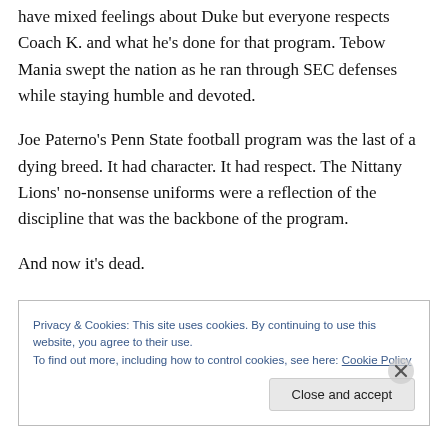have mixed feelings about Duke but everyone respects Coach K. and what he's done for that program. Tebow Mania swept the nation as he ran through SEC defenses while staying humble and devoted.
Joe Paterno's Penn State football program was the last of a dying breed. It had character. It had respect. The Nittany Lions' no-nonsense uniforms were a reflection of the discipline that was the backbone of the program.
And now it's dead.
Privacy & Cookies: This site uses cookies. By continuing to use this website, you agree to their use. To find out more, including how to control cookies, see here: Cookie Policy